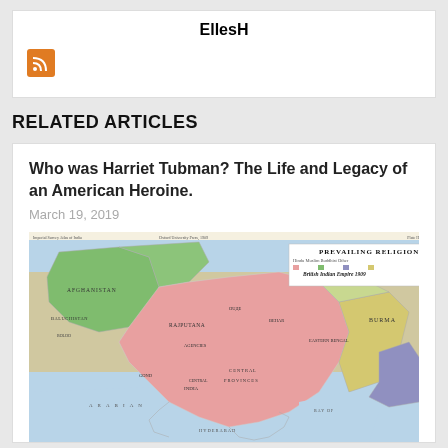EllesH
[Figure (logo): RSS feed orange icon]
RELATED ARTICLES
Who was Harriet Tubman? The Life and Legacy of an American Heroine.
March 19, 2019
[Figure (map): Historical map titled 'PREVAILING RELIGIONS' showing the British Indian Empire 1909, with regions colored in pink (Hindu), green (Muslim), yellow and other colors for various religious groups across South Asia and surrounding regions. Published by Oxford University Press, 1909.]